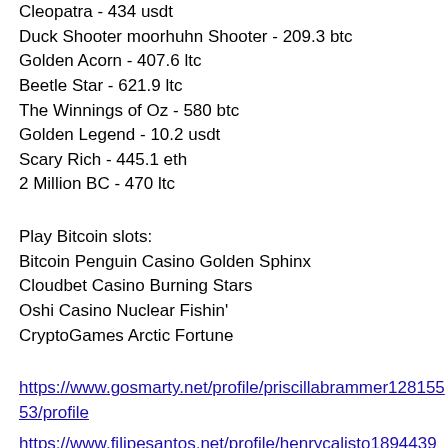Cleopatra - 434 usdt
Duck Shooter moorhuhn Shooter - 209.3 btc
Golden Acorn - 407.6 ltc
Beetle Star - 621.9 ltc
The Winnings of Oz - 580 btc
Golden Legend - 10.2 usdt
Scary Rich - 445.1 eth
2 Million BC - 470 ltc
Play Bitcoin slots:
Bitcoin Penguin Casino Golden Sphinx
Cloudbet Casino Burning Stars
Oshi Casino Nuclear Fishin'
CryptoGames Arctic Fortune
https://www.gosmarty.net/profile/priscillabrammer12815553/profile
https://www.filipesantos.net/profile/henrycalisto18944399/profile
https://www.synergybehaviorconsulting.com/profile/tysonsnethen5035188/profile